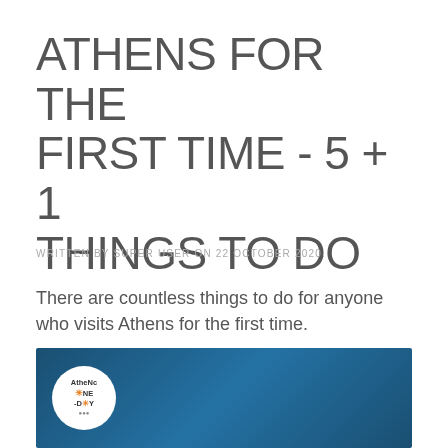ATHENS FOR THE FIRST TIME - 5 + 1 THINGS TO DO
WRITTEN BY SUPER USER ON 22 OCTOBER 2020.
There are countless things to do for anyone who visits Athens for the first time.
[Figure (photo): Dark blue banner with Athens One Day logo circle on the left side]